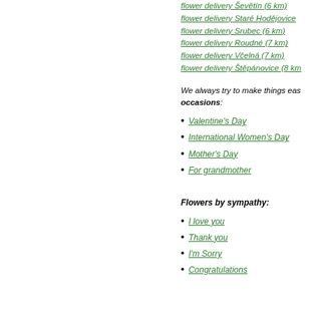flower delivery Ševětín (6 km)
flower delivery Staré Hodějovice
flower delivery Srubec (6 km)
flower delivery Roudné (7 km)
flower delivery Včelná (7 km)
flower delivery Štěpánovice (8 km
We always try to make things eas... occasions:
Valentine's Day
International Women's Day
Mother's Day
For grandmother
Flowers by sympathy:
I love you
Thank you
I'm Sorry
Congratulations